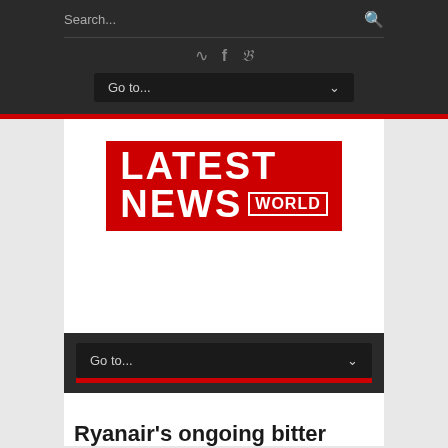Search... [search icon]
RSS, Facebook, Twitter social icons
Go to... [dropdown]
[Figure (logo): Latest News World logo — red background with white bold LATEST NEWS text and WORLD in a white-bordered box]
[Advertisement space]
Go to... [dropdown menu]
Ryanair's ongoing bitter